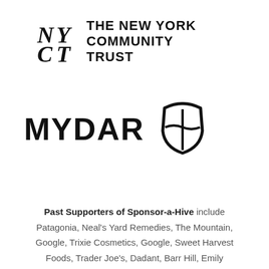[Figure (logo): The New York Community Trust logo with NYCT emblem and text]
[Figure (logo): MYDAR logo with shield emblem]
Past Supporters of Sponsor-a-Hive include Patagonia, Neal's Yard Remedies, The Mountain, Google, Trixie Cosmetics, Google, Sweet Harvest Foods, Trader Joe's, Dadant, Barr Hill, Emily Austin, neubau, Mann Lake, Palais Des Thes, Reyod, Red Bee Honey, Pinkberry, James E...